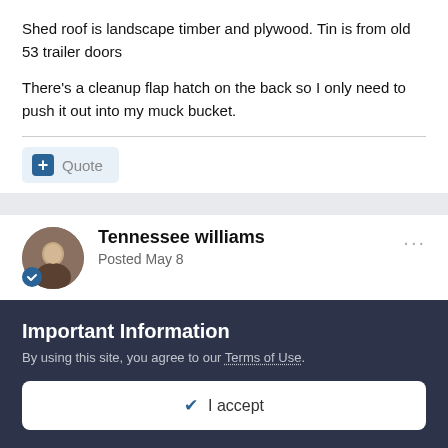Shed roof is landscape timber and plywood. Tin is from old 53 trailer doors
There's a cleanup flap hatch on the back so I only need to push it out into my muck bucket.
+ Quote
Tennessee williams
Posted May 8
How many chickens is Mrs Yul wanting to keep? Make a big difference on the coop/coops you'll need. Also, will they free
Important Information
By using this site, you agree to our Terms of Use.
✔ I accept